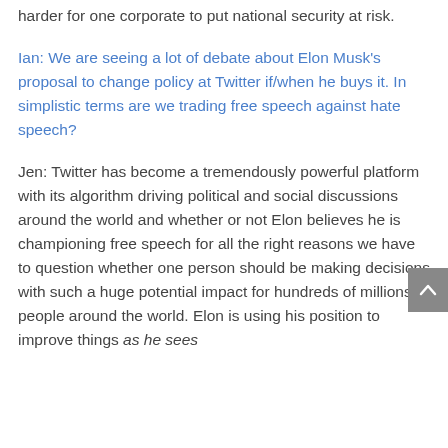harder for one corporate to put national security at risk.
Ian: We are seeing a lot of debate about Elon Musk's proposal to change policy at Twitter if/when he buys it. In simplistic terms are we trading free speech against hate speech?
Jen: Twitter has become a tremendously powerful platform with its algorithm driving political and social discussions around the world and whether or not Elon believes he is championing free speech for all the right reasons we have to question whether one person should be making decisions with such a huge potential impact for hundreds of millions of people around the world. Elon is using his position to improve things as he sees